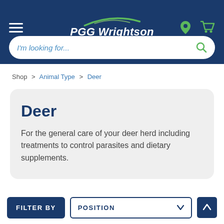PGG Wrightson
I'm looking for...
Shop > Animal Type > Deer
Deer
For the general care of your deer herd including treatments to control parasites and dietary supplements.
FILTER BY
POSITION